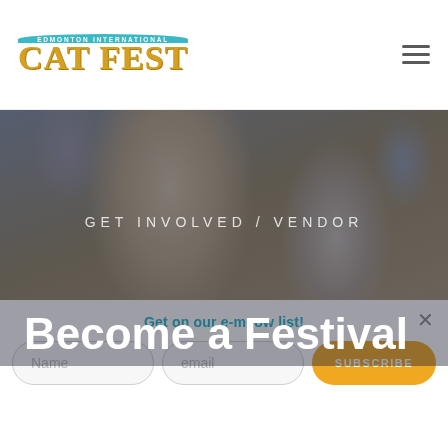Edmonton International Cat Fest — navigation header with logo and hamburger menu
[Figure (photo): Background photo of people at a festival/vendor event, with a woman in a cream cap in the foreground looking down, slightly blurred. Dark overlay applied.]
GET INVOLVED / VENDOR
Become a Festival Vendor
Get on our e-meow list!
Name | email | SUBSCRIBE